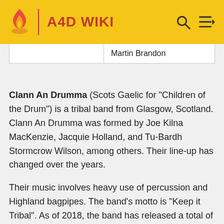A4D WIKI
|  | Martin Brandon |
Clann An Drumma (Scots Gaelic for "Children of the Drum") is a tribal band from Glasgow, Scotland. Clann An Drumma was formed by Joe Kilna MacKenzie, Jacquie Holland, and Tu-Bardh Stormcrow Wilson, among others. Their line-up has changed over the years.
Their music involves heavy use of percussion and Highland bagpipes. The band's motto is "Keep it Tribal". As of 2018, the band has released a total of six studio albums.
One of their better-known pieces is "Sgt. MacKenzie". It was composed by Joe MacKenzie in memory of his great